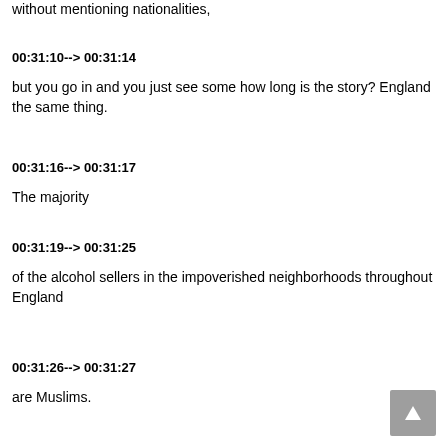without mentioning nationalities,
00:31:10--> 00:31:14
but you go in and you just see some how long is the story? England the same thing.
00:31:16--> 00:31:17
The majority
00:31:19--> 00:31:25
of the alcohol sellers in the impoverished neighborhoods throughout England
00:31:26--> 00:31:27
are Muslims.